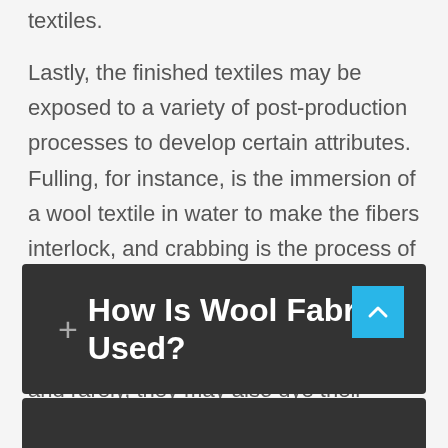textiles.
Lastly, the finished textiles may be exposed to a variety of post-production processes to develop certain attributes. Fulling, for instance, is the immersion of a wool textile in water to make the fibers interlock, and crabbing is the process of permanently setting this interlock. Lastly, wool producers may decate their products for shrink-proofing purposes, and rarely, they may also dye their finished wool products.
How Is Wool Fabric Used?